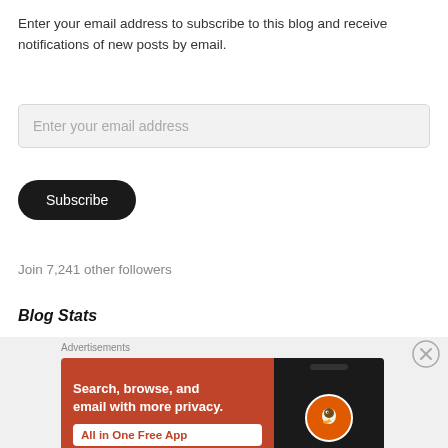Enter your email address to subscribe to this blog and receive notifications of new posts by email.
Enter your email address
Subscribe
Join 7,241 other followers
Blog Stats
Advertisements
[Figure (infographic): DuckDuckGo advertisement banner on orange background showing 'Search, browse, and email with more privacy. All in One Free App' with DuckDuckGo logo on a phone on black background.]